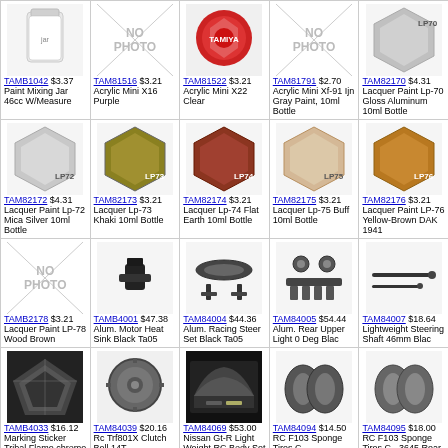| TAMB1042 $3.37 Paint Mixing Jar 46cc W/Measure | TAMB1516 $3.21 Acrylic Mini X16 Purple | TAM81522 $3.21 Acrylic Mini X22 Clear | TAM81791 $2.70 Acrylic Mini Xf-91 Ijn Gray Paint, 10ml Bottle | TAM82170 $4.31 Lacquer Paint Lp-70 Gloss Aluminum 10ml Bottle |
| TAM82172 $4.31 Lacquer Paint Lp-72 Mica Silver 10ml Bottle | TAM82173 $3.21 Lacquer Lp-73 Khaki 10ml Bottle | TAM82174 $3.21 Lacquer Lp-74 Flat Earth 10ml Bottle | TAM82175 $3.21 Lacquer Lp-75 Buff 10ml Bottle | TAM82176 $3.21 Lacquer Paint LP-76 Yellow-Brown DAK 1941 |
| TAMB2178 $3.21 Lacquer Paint LP-78 Wood Brown | TAMB4001 $47.38 Alum. Motor Heat Sink Black Ta05 | TAM84004 $44.36 Alum. Racing Steer Set Black Ta05 | TAM84005 $54.44 Alum. Rear Upper Light 0 Deg Blac | TAM84007 $18.64 Lightweight Steering Shaft 46mm Blac |
| TAMB4033 $16.12 Marking Sticker Tribal Flame chrome | TAM84039 $20.16 Rc Trf801X Clutch Bell 14T | TAM84069 $53.00 Nissan Gt-R Light Weight RC Body Set | TAM84094 $14.50 RC F103 Sponge Tires C | TAM84095 $18.00 RC F103 Sponge Tires C - 3645 Rear |